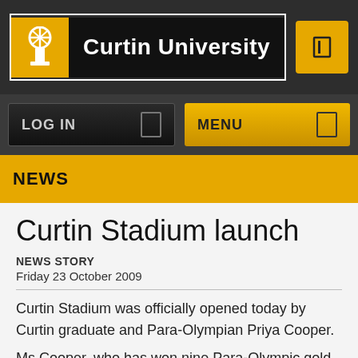[Figure (logo): Curtin University logo with yellow icon and white text on black background]
LOG IN   MENU
NEWS
Curtin Stadium launch
NEWS STORY
Friday 23 October 2009
Curtin Stadium was officially opened today by Curtin graduate and Para-Olympian Priya Cooper.
Ms Cooper, who has won nine Para-Olympic gold medals,